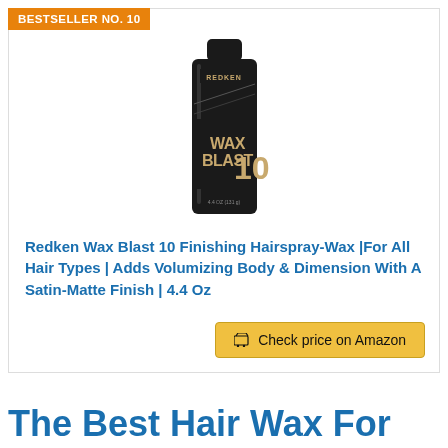BESTSELLER NO. 10
[Figure (photo): Redken Wax Blast 10 finishing hairspray-wax product in a black aerosol can]
Redken Wax Blast 10 Finishing Hairspray-Wax |For All Hair Types | Adds Volumizing Body & Dimension With A Satin-Matte Finish | 4.4 Oz
Check price on Amazon
The Best Hair Wax For